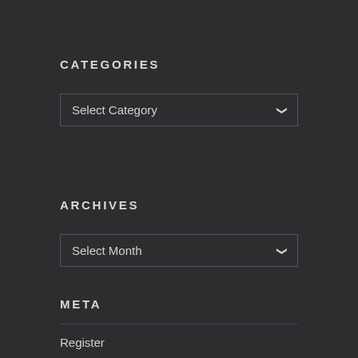CATEGORIES
Select Category
ARCHIVES
Select Month
META
Register
Log in